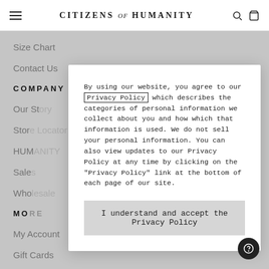CITIZENS of HUMANITY
Size Chart
Contact Us
COMPANY
Our Story
Stor...
HUM...
Sale...
Who...
MO...
My Account
Gift Cards
By using our website, you agree to our Privacy Policy which describes the categories of personal information we collect about you and how which that information is used. We do not sell your personal information. You can also view updates to our Privacy Policy at any time by clicking on the "Privacy Policy" link at the bottom of each page of our site.
I understand and accept the Privacy Policy